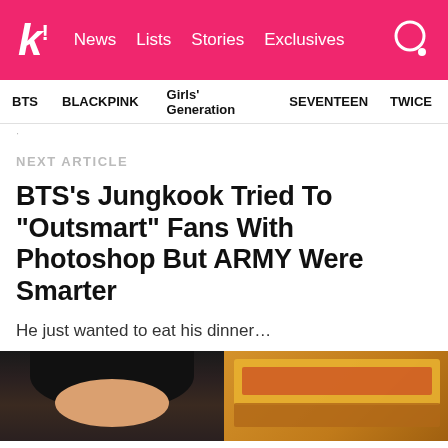k! News Lists Stories Exclusives
BTS   BLACKPINK   Girls' Generation   SEVENTEEN   TWICE
NEXT ARTICLE
BTS’s Jungkook Tried To “Outsmart” Fans With Photoshop But ARMY Were Smarter
He just wanted to eat his dinner…
[Figure (photo): Two side-by-side photos at bottom of page: left shows a person with dark hair, right shows a food dish (pizza/cheese)]